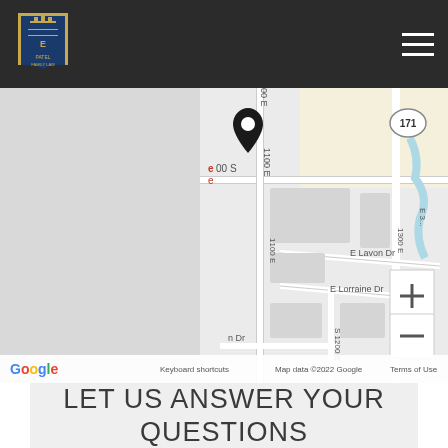[Figure (logo): Patel law firm logo with crest/shield icon in gold/blue on dark header]
[Figure (map): Google Maps screenshot showing a street map with a location pin marker. Visible street labels include '00 S', '1100 E', '1300 E', 'E3...', 'E Lavon Dr', 'E Lorraine Dr', 'S 1200 E', 'n Dr'. Map shows zoom controls (+/-). Map footer shows 'Google', 'Keyboard shortcuts', 'Map data ©2022 Google', 'Terms of Use'.]
LET US ANSWER YOUR QUESTIONS